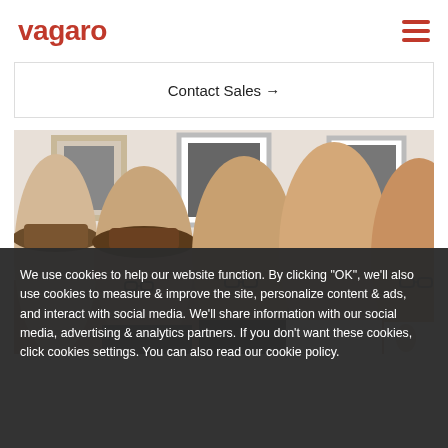vagaro
Contact Sales →
[Figure (photo): Four women sitting together, smiling and looking down, in front of framed black and white photos on a white wall. The women have various styles; one wears a brown hat, others wear glasses, and some have visible tattoos.]
We use cookies to help our website function. By clicking "OK", we'll also use cookies to measure & improve the site, personalize content & ads, and interact with social media. We'll share information with our social media, advertising & analytics partners. If you don't want these cookies, click cookies settings. You can also read our cookie policy.